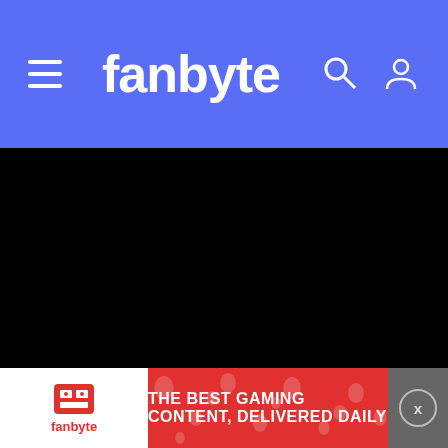fanbyte
finesse within recklessness, and even when the narrative slows down to reminisce and build tension, it quickly jolts back into action. It is often only during the ending credits when the beautiful ending theme rolls in that the viewer gets a chance to emotionally process what just went down.
[Figure (infographic): Fanbyte advertisement banner: red background with fanbyte logo and tagline THE BEST GAMING CONTENT, DELIVERED DAILY]